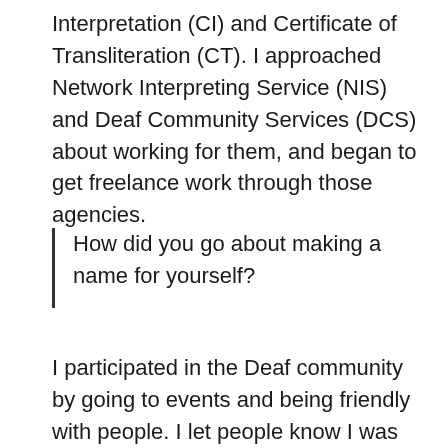Interpretation (CI) and Certificate of Transliteration (CT). I approached Network Interpreting Service (NIS) and Deaf Community Services (DCS) about working for them, and began to get freelance work through those agencies.
How did you go about making a name for yourself?
I participated in the Deaf community by going to events and being friendly with people. I let people know I was in an interpreter training program and was working on becoming an interpreter. I ate lunch with the deaf and hard-of-hearing students in the cafeteria at the college where I received my associate's degree in ASL Interpreting. I have